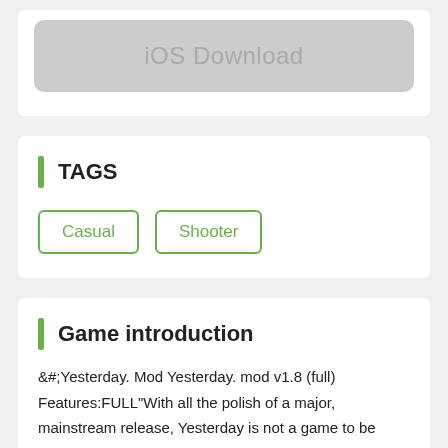[Figure (other): iOS Download button - a rounded rectangle with light gray background and gray text reading 'iOS Download']
TAGS
Casual
Shooter
Game introduction
&#;Yesterday. Mod Yesterday. mod v1.8 (full) Features:FULL"With all the polish of a major, mainstream release, Yesterday is not a game to be missed." (Gamezebo)"An experience you'll be unlikely to forget." (Joystiq)"Yesterday will sate the needs of adventure game fans." (Destructoid)"The game feels like a painting come to life." (Strategy Informer)"One of the best point-